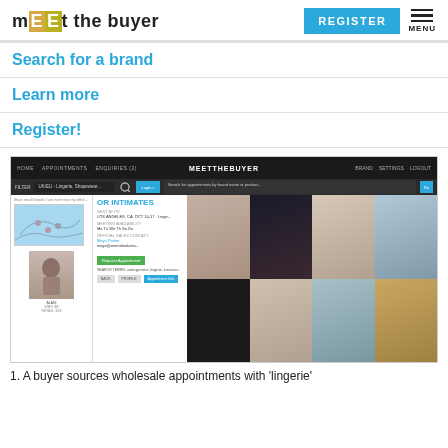mEEt the buyer | REGISTER | MENU
Search for a brand
Learn more
Register!
[Figure (screenshot): Screenshot of the meetthebuyer website showing a brand profile page for a lingerie brand with product images in a grid layout and brand details panel]
1. A buyer sources wholesale appointments with 'lingerie'